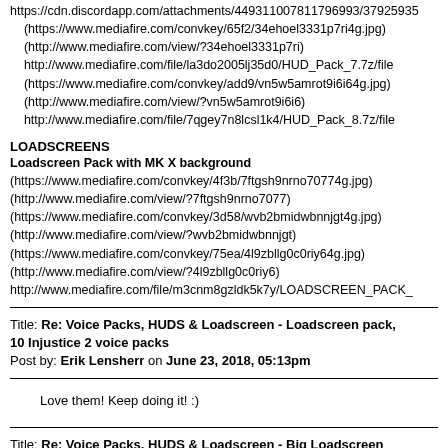https://cdn.discordapp.com/attachments/449311007811796993/37925935...
(https://www.mediafire.com/convkey/65f2/34ehoel3331p7ri4g.jpg)
(http://www.mediafire.com/view/?34ehoel3331p7ri)
http://www.mediafire.com/file/la3do2005lj35d0/HUD_Pack_7.7z/file
(https://www.mediafire.com/convkey/add9/vn5w5amrot9i6i64g.jpg)
(http://www.mediafire.com/view/?vn5w5amrot9i6i6)
http://www.mediafire.com/file/7qgey7n8lcsl1k4/HUD_Pack_8.7z/file
LOADSCREENS
Loadscreen Pack with MK X background
(https://www.mediafire.com/convkey/4f3b/7ftgsh9nrno70774g.jpg)
(http://www.mediafire.com/view/?7ftgsh9nrno7077)
(https://www.mediafire.com/convkey/3d58/wvb2bmidwbnnjgt4g.jpg)
(http://www.mediafire.com/view/?wvb2bmidwbnnjgt)
(https://www.mediafire.com/convkey/75ea/4l9zbllg0c0riy64g.jpg)
(http://www.mediafire.com/view/?4l9zbllg0c0riy6)
http://www.mediafire.com/file/m3cnm8gzldk5k7y/LOADSCREEN_PACK_
Title: Re: Voice Packs, HUDS & Loadscreen - Loadscreen pack, 10 Injustice 2 voice packs
Post by: Erik Lensherr on June 23, 2018, 05:13pm
Love them! Keep doing it! :)
Title: Re: Voice Packs, HUDS & Loadscreen - Big Loadscreen Pack, 10 Injustice 2 Voice Packs
Post by: andersonbrazil on June 24, 2018, 07:32am